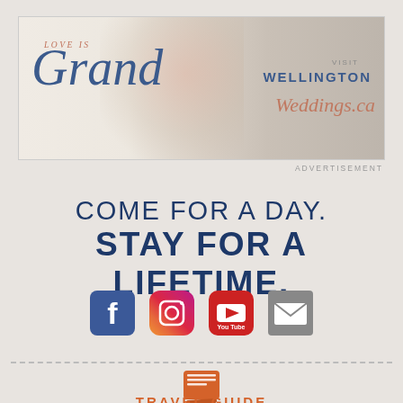[Figure (illustration): Love is Grand / Visit Wellington Weddings.ca advertisement banner with wedding bouquet photo]
ADVERTISEMENT
COME FOR A DAY. STAY FOR A LIFETIME.
[Figure (infographic): Social media icons: Facebook, Instagram, YouTube, Email/Envelope]
[Figure (illustration): Travel guide book icon]
TRAVEL GUIDE